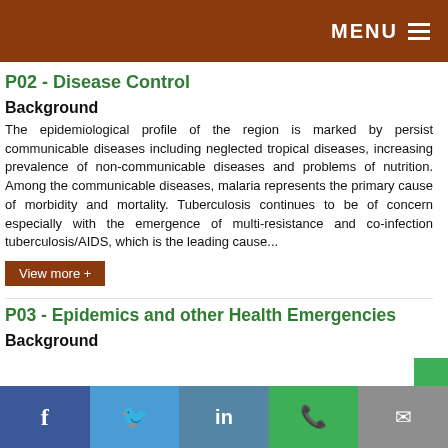MENU
P02 - Disease Control
Background
The epidemiological profile of the region is marked by persistent communicable diseases including neglected tropical diseases, increasing prevalence of non-communicable diseases and problems of nutrition. Among the communicable diseases, malaria represents the primary cause of morbidity and mortality. Tuberculosis continues to be of concern especially with the emergence of multi-resistance and co-infection tuberculosis/AIDS, which is the leading cause...
View more +
P03 - Epidemics and other Health Emergencies
Background
f  Twitter  in  WhatsApp  Email